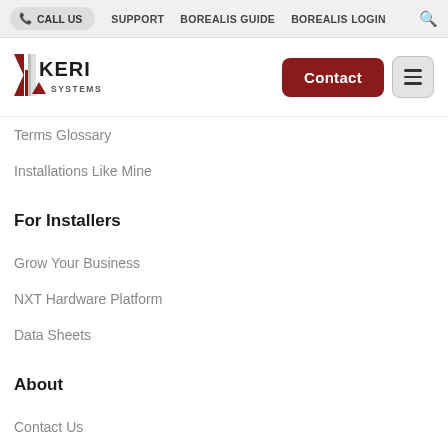CALL US  SUPPORT  BOREALIS GUIDE  BOREALIS LOGIN
[Figure (logo): Keri Systems logo with red triangle and slash mark]
Terms Glossary
Installations Like Mine
For Installers
Grow Your Business
NXT Hardware Platform
Data Sheets
About
Contact Us